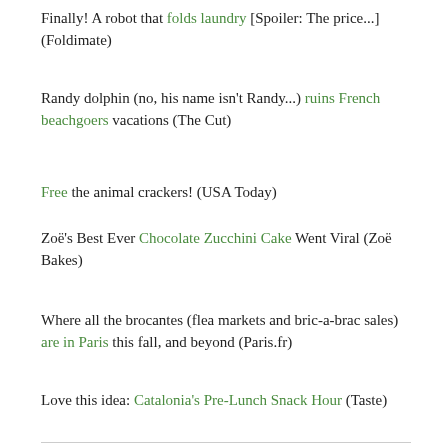Finally! A robot that folds laundry [Spoiler: The price...] (Foldimate)
Randy dolphin (no, his name isn't Randy...) ruins French beachgoers vacations (The Cut)
Free the animal crackers! (USA Today)
Zoë's Best Ever Chocolate Zucchini Cake Went Viral (Zoë Bakes)
Where all the brocantes (flea markets and bric-a-brac sales) are in Paris this fall, and beyond (Paris.fr)
Love this idea: Catalonia's Pre-Lunch Snack Hour (Taste)
[Figure (photo): Blurry close-up photo of food items, appears to show reddish items (possibly strawberries or tomatoes) with dark and light tones, taken at close range with shallow depth of field.]